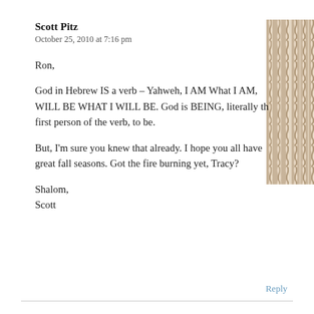Scott Pitz
October 25, 2010 at 7:16 pm
Ron,
God in Hebrew IS a verb – Yahweh, I AM What I AM, WILL BE WHAT I WILL BE. God is BEING, literally the first person of the verb, to be.
But, I'm sure you knew that already. I hope you all have great fall seasons. Got the fire burning yet, Tracy?
Shalom,
Scott
[Figure (illustration): Decorative vertical stripe pattern in tan/brown tones on right side]
Reply